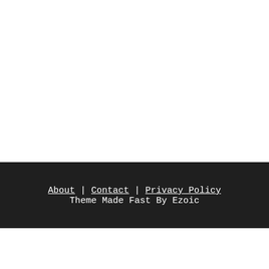About | Contact | Privacy Policy
Theme Made Fast By Ezoic